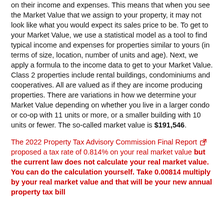on their income and expenses. This means that when you see the Market Value that we assign to your property, it may not look like what you would expect its sales price to be. To get to your Market Value, we use a statistical model as a tool to find typical income and expenses for properties similar to yours (in terms of size, location, number of units and age). Next, we apply a formula to the income data to get to your Market Value. Class 2 properties include rental buildings, condominiums and cooperatives. All are valued as if they are income producing properties. There are variations in how we determine your Market Value depending on whether you live in a larger condo or co-op with 11 units or more, or a smaller building with 10 units or fewer. The so-called market value is $191,546.
The 2022 Property Tax Advisory Commission Final Report [link] proposed a tax rate of 0.814% on your real market value but the current law does not calculate your real market value. You can do the calculation yourself. Take 0.00814 multiply by your real market value and that will be your new annual property tax bill [continues...]